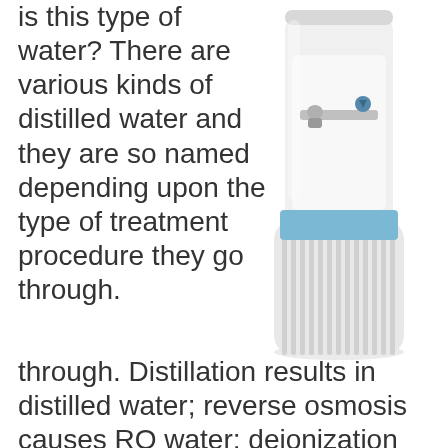is this type of water? There are various kinds of distilled water and they are so named depending upon the type of treatment procedure they go through. Distillation results in distilled water; reverse osmosis causes RO water; deionization causes deionized or demineralized water. All these are distilled water lacking impurities. Essentially they are the same, pure H2O consisting of no solutes and colloidal particles.
[Figure (photo): A white water cooler/dispenser with a blue accent band in the middle, showing two dispensing taps, with vertical ribbed texture on the lower body.]